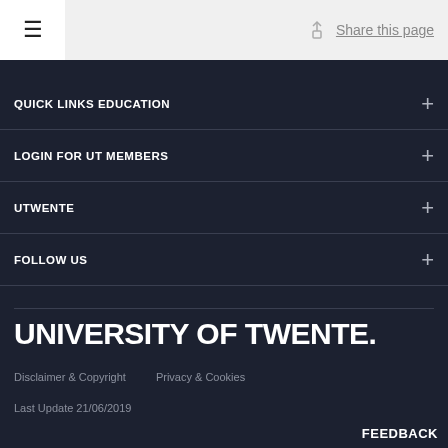≡  Share this page
QUICK LINKS EDUCATION
LOGIN FOR UT MEMBERS
UTWENTE
FOLLOW US
UNIVERSITY OF TWENTE.
Disclaimer & Copyright    Privacy & Cookies
Last Update 21/06/2019
FEEDBACK